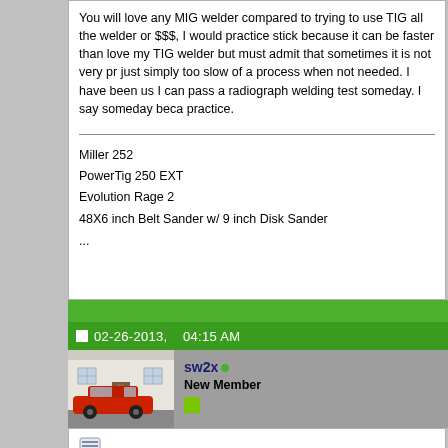You will love any MIG welder compared to trying to use TIG all the welder or $$$, I would practice stick because it can be faster than love my TIG welder but must admit that sometimes it is not very pr just simply too slow of a process when not needed. I have been us I can pass a radiograph welding test someday. I say someday beca practice.
Miller 252
PowerTig 250 EXT
Evolution Rage 2
48X6 inch Belt Sander w/ 9 inch Disk Sander
...
02-26-2013,   04:15 AM
[Figure (photo): Avatar photo of a red sports car parked in front of a building with white walls]
sw2x
New Member
I really have no desire to stick weld. Just too messy. I would have t myself from slag. Rather buy a mig welder.